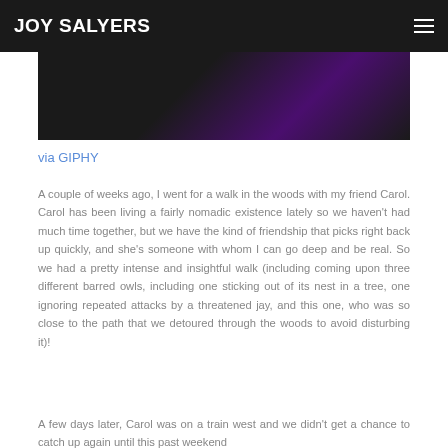JOY SALYERS
[Figure (photo): Dark background image with purple/indigo tones, partially visible at top of page]
via GIPHY
A couple of weeks ago, I went for a walk in the woods with my friend Carol. Carol has been living a fairly nomadic existence lately so we haven't had much time together, but we have the kind of friendship that picks right back up quickly, and she's someone with whom I can go deep and be real. So we had a pretty intense and insightful walk (including coming upon three different barred owls, including one sticking out of its nest in a tree, one ignoring repeated attacks by a threatened jay, and this one, who was so close to the path that we detoured through the woods to avoid disturbing it)!
A few days later, Carol was on a train west and we didn't get a chance to catch up again until this past weekend